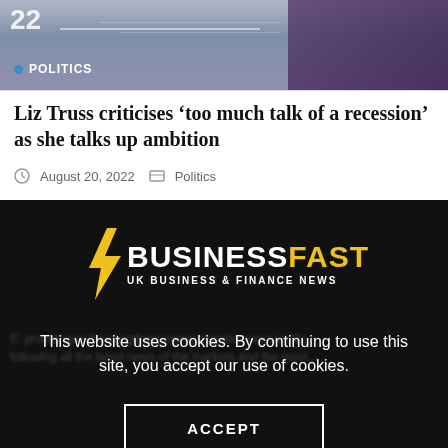[Figure (photo): Header image with a number '22' visible and a partial figure in purple clothing, with a blue Politics tag overlay at the bottom left]
Liz Truss criticises ‘too much talk of a recession’ as she talks up ambition
August 20, 2022   Politics
[Figure (logo): BusinessFast logo with yellow lightning bolt and text 'BUSINESSFAST UK BUSINESS & FINANCE NEWS' on black background]
This website uses cookies. By continuing to use this site, you accept our use of cookies.
ACCEPT